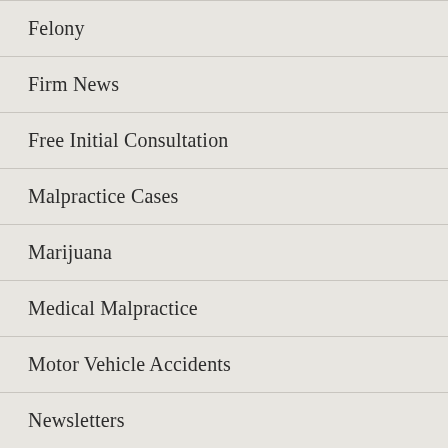Felony
Firm News
Free Initial Consultation
Malpractice Cases
Marijuana
Medical Malpractice
Motor Vehicle Accidents
Newsletters
OWI